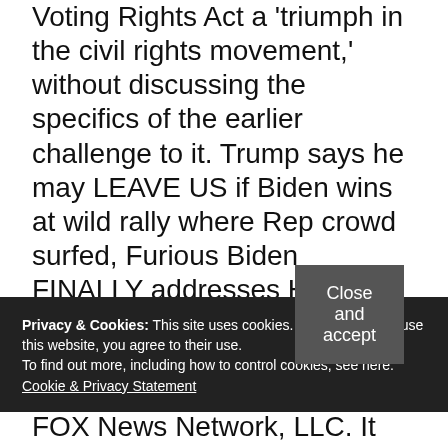Voting Rights Act a 'triumph in the civil rights movement,' without discussing the specifics of the earlier challenge to it. Trump says he may LEAVE US if Biden wins at wild rally where Rep crowd surfed, Furious Biden FINALLY addresses Hunter laptop scandal to slam 'smear', Woman 'CONFESSES' to faking pregnancy and fatally cutting baby out of pal's womb, Baby 'dies after ingesting mom's mix of fentanyl, cocaine, and morphine', Gang abducted, tortured & raped couple before hanging them & burning bodies, © 2020 THE SUN, US, INC. ALL RIGHTS RESERVED | TERMS OF USE | PRIVACY | YOUR AD CHOICES | SITEMAP, Comments are subject to our community guidelines, which can be viewed, Lindsey Graham attends the first day of Judge Amy Coney Barrett's Senate confirmation hearing,
Privacy & Cookies: This site uses cookies. By continuing to use this website, you agree to their use.
To find out more, including how to control cookies, see here: Cookie & Privacy Statement
FOX News Network, LLC. It would be applying laws that